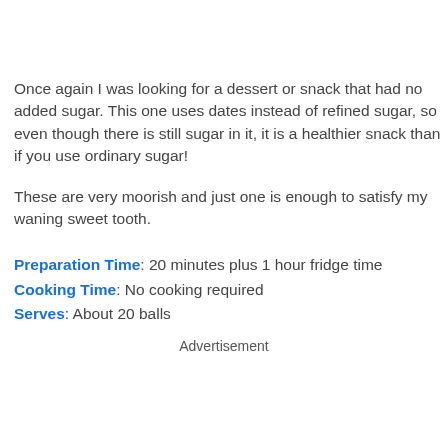Once again I was looking for a dessert or snack that had no added sugar. This one uses dates instead of refined sugar, so even though there is still sugar in it, it is a healthier snack than if you use ordinary sugar!
These are very moorish and just one is enough to satisfy my waning sweet tooth.
Preparation Time: 20 minutes plus 1 hour fridge time
Cooking Time: No cooking required
Serves: About 20 balls
Advertisement